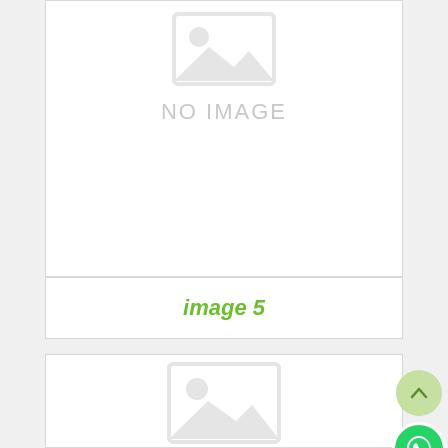[Figure (illustration): No image placeholder with grey image icon and 'NO IMAGE' text]
image 5
[Figure (photo): Second card with image placeholder icon at bottom]
[Figure (illustration): Scroll-to-top circular button with upward chevron]
[Figure (illustration): WhatsApp circular button with phone icon]